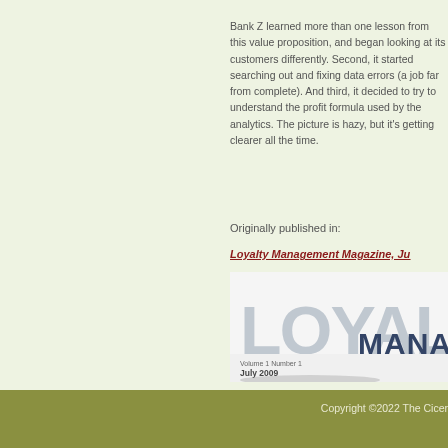Bank Z learned more than one lesson from this value proposition, and began looking at its customers differently. Second, it started searching out and fixing data errors (a job far from complete). And third, it decided to try to understand the profit formula used by the analytics. The picture is hazy, but it's getting clearer all the time.
Originally published in:
Loyalty Management Magazine, Ju...
[Figure (illustration): Cover of Loyalty Management Magazine, July 2009, Volume 1 Number 1. Shows large grey text 'LOYAL' and 'MANA' partially visible, with 'July 2009' printed below.]
Copyright ©2022 The Cicer...